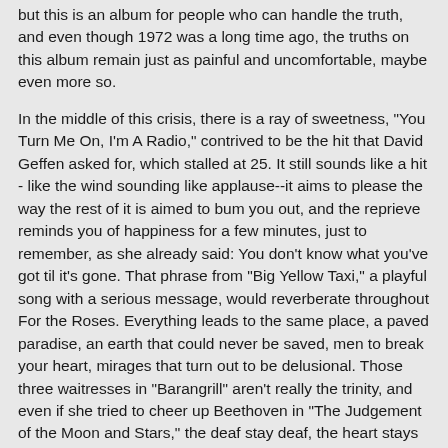but this is an album for people who can handle the truth, and even though 1972 was a long time ago, the truths on this album remain just as painful and uncomfortable, maybe even more so.
In the middle of this crisis, there is a ray of sweetness, "You Turn Me On, I'm A Radio," contrived to be the hit that David Geffen asked for, which stalled at 25. It still sounds like a hit - like the wind sounding like applause--it aims to please the way the rest of it is aimed to bum you out, and the reprieve reminds you of happiness for a few minutes, just to remember, as she already said: You don't know what you've got til it's gone. That phrase from "Big Yellow Taxi," a playful song with a serious message, would reverberate throughout For the Roses. Everything leads to the same place, a paved paradise, an earth that could never be saved, men to break your heart, mirages that turn out to be delusional. Those three waitresses in "Barangrill" aren't really the trinity, and even if she tried to cheer up Beethoven in "The Judgement of the Moon and Stars," the deaf stay deaf, the heart stays broken, and men will still fuck their strangers.